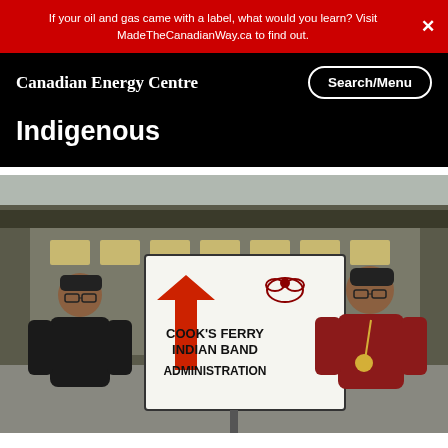If your oil and gas came with a label, what would you learn? Visit MadeTheCanadianWay.ca to find out.
Canadian Energy Centre | Search/Menu
Indigenous
[Figure (photo): Two men standing in front of a Cook's Ferry Indian Band Administration sign outside a building. The sign has a red arrow pointing up and a bird logo. The man on the left wears a black jacket and glasses; the man on the right wears a red sweatshirt and glasses.]